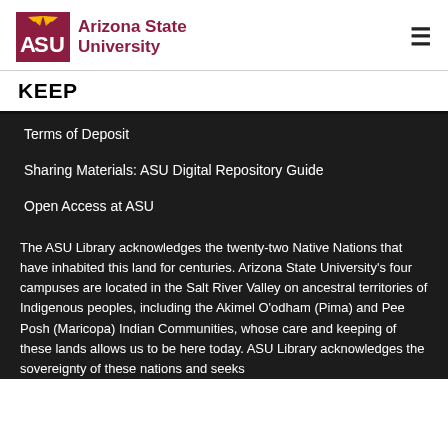[Figure (logo): Arizona State University logo with ASU text and sunburst icon in maroon, followed by text 'Arizona State University']
KEEP
Terms of Deposit
Sharing Materials: ASU Digital Repository Guide
Open Access at ASU
The ASU Library acknowledges the twenty-two Native Nations that have inhabited this land for centuries. Arizona State University's four campuses are located in the Salt River Valley on ancestral territories of Indigenous peoples, including the Akimel O'odham (Pima) and Pee Posh (Maricopa) Indian Communities, whose care and keeping of these lands allows us to be here today. ASU Library acknowledges the sovereignty of these nations and seeks